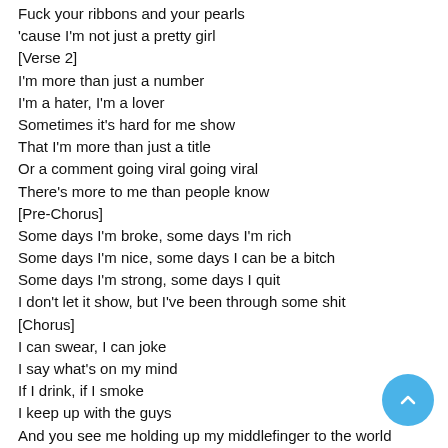Fuck your ribbons and your pearls
'cause I'm not just a pretty girl
[Verse 2]
I'm more than just a number
I'm a hater, I'm a lover
Sometimes it's hard for me show
That I'm more than just a title
Or a comment going viral going viral
There's more to me than people know
[Pre-Chorus]
Some days I'm broke, some days I'm rich
Some days I'm nice, some days I can be a bitch
Some days I'm strong, some days I quit
I don't let it show, but I've been through some shit
[Chorus]
I can swear, I can joke
I say what's on my mind
If I drink, if I smoke
I keep up with the guys
And you see me holding up my middlefinger to the world
Fuck your heavens and your pearls
'cause I'm not just a pretty girl, I'm not just a pretty girl